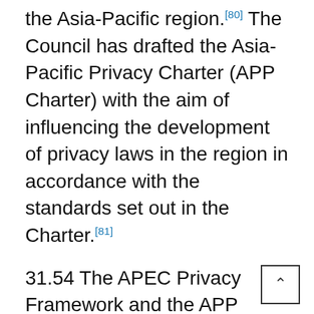the Asia-Pacific region.[80] The Council has drafted the Asia-Pacific Privacy Charter (APP Charter) with the aim of influencing the development of privacy laws in the region in accordance with the standards set out in the Charter.[81]
31.54 The APEC Privacy Framework and the APP Charter have a number of similarities, and both reflect many of the principles contained in other international and regional agreements, such as the OECD Guidelines and the EU